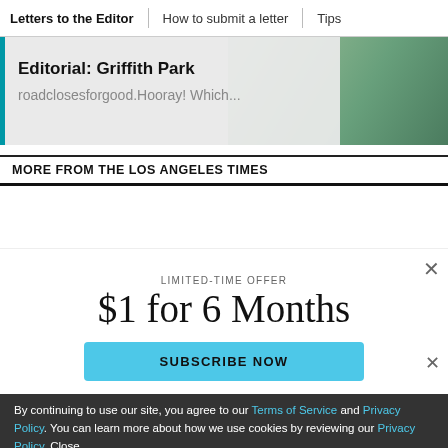Letters to the Editor | How to submit a letter | Tips
[Figure (screenshot): Editorial promo card with photo background showing 'Editorial: Griffith Park' headline and 'roadclosesforgood.Hooray! Which...' subtext, with teal left border bar]
MORE FROM THE LOS ANGELES TIMES
LIMITED-TIME OFFER
$1 for 6 Months
SUBSCRIBE NOW
By continuing to use our site, you agree to our Terms of Service and Privacy Policy. You can learn more about how we use cookies by reviewing our Privacy Policy. Close